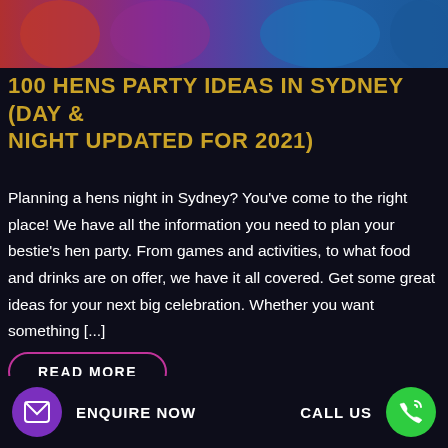[Figure (photo): Colorful party photo strip at top of page showing people in red and blue costumes]
100 HENS PARTY IDEAS IN SYDNEY (DAY & NIGHT UPDATED FOR 2021)
Planning a hens night in Sydney? You've come to the right place! We have all the information you need to plan your bestie's hen party. From games and activities, to what food and drinks are on offer, we have it all covered. Get some great ideas for your next big celebration. Whether you want something [...]
READ MORE
ENQUIRE NOW   CALL US